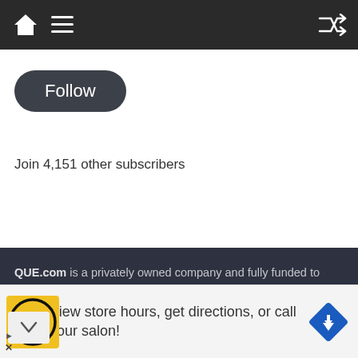[Figure (screenshot): Dark navigation bar with home icon, hamburger menu icon on the left, and shuffle icon on the right]
Follow
Join 4,151 other subscribers
QUE.com is a privately owned company and fully funded to operate our network of services. Our HQ based in Fairfax Virginia USA with multiple virtual moderators and volunteers around the Our platform are cloud based for faster access to all
[Figure (infographic): Advertisement banner: HC logo on yellow background, text 'View store hours, get directions, or call your salon!', blue diamond direction arrow icon, play and close controls]